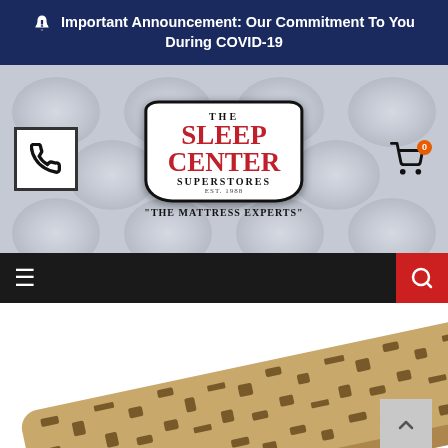📢 Important Announcement: Our Commitment To You During COVID-19
[Figure (logo): The Sleep Center Superstores logo with tagline 'The Mattress Experts']
[Figure (screenshot): Website navigation bar with hamburger menu and search button]
[Figure (photo): Partial product photo showing a mattress or pillow with decorative patterned fabric]